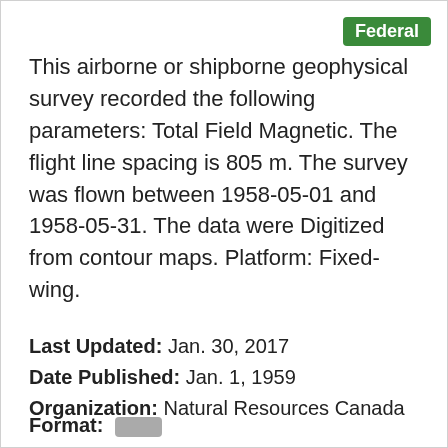Federal
This airborne or shipborne geophysical survey recorded the following parameters: Total Field Magnetic. The flight line spacing is 805 m. The survey was flown between 1958-05-01 and 1958-05-31. The data were Digitized from contour maps. Platform: Fixed-wing.
Last Updated: Jan. 30, 2017
Date Published: Jan. 1, 1959
Organization: Natural Resources Canada
Format: